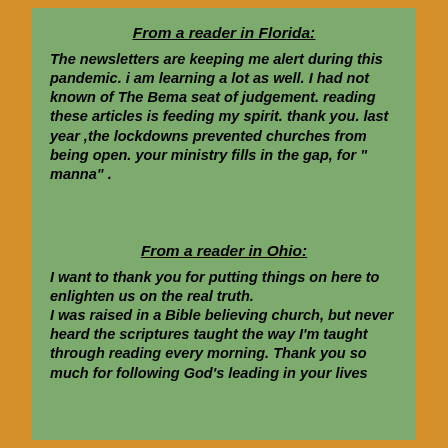From a reader in Florida:
The newsletters are keeping me alert during this pandemic. i am learning a lot as well. I had not known of The Bema seat of judgement. reading these articles is feeding my spirit. thank you. last year ,the lockdowns prevented churches from being open. your ministry fills in the gap, for " manna" .
From a reader in Ohio:
I want to thank you for putting things on here to enlighten us on the real truth.
I was raised in a Bible believing church, but never heard the scriptures taught the way I'm taught through reading every morning. Thank you so much for following God's leading in your lives